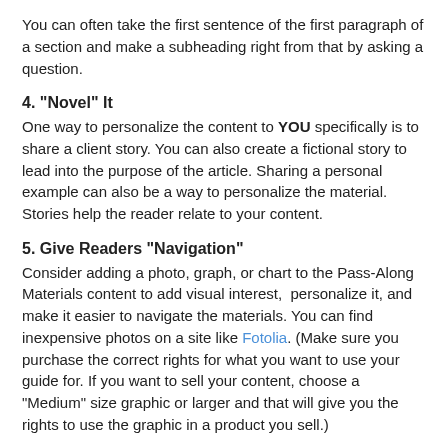You can often take the first sentence of the first paragraph of a section and make a subheading right from that by asking a question.
4. "Novel" It
One way to personalize the content to YOU specifically is to share a client story. You can also create a fictional story to lead into the purpose of the article. Sharing a personal example can also be a way to personalize the material. Stories help the reader relate to your content.
5. Give Readers "Navigation"
Consider adding a photo, graph, or chart to the Pass-Along Materials content to add visual interest,  personalize it, and make it easier to navigate the materials. You can find inexpensive photos on a site like Fotolia. (Make sure you purchase the correct rights for what you want to use your guide for. If you want to sell your content, choose a "Medium" size graphic or larger and that will give you the rights to use the graphic in a product you sell.)